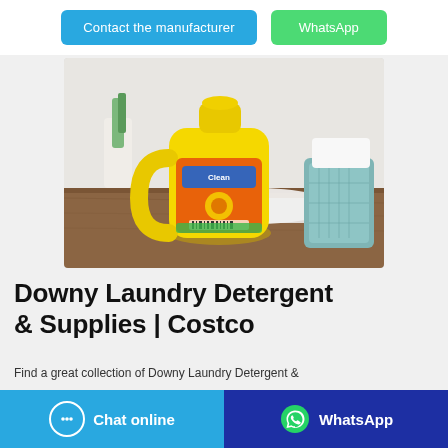[Figure (other): Two buttons at top: 'Contact the manufacturer' (blue) and 'WhatsApp' (green)]
[Figure (photo): Yellow laundry detergent bottle on a wooden table with a white cloth and teal laundry basket in background]
Downy Laundry Detergent & Supplies | Costco
Find a great collection of Downy Laundry Detergent &
[Figure (other): Two buttons at bottom: 'Chat online' (light blue with chat icon) and 'WhatsApp' (dark blue with WhatsApp icon)]